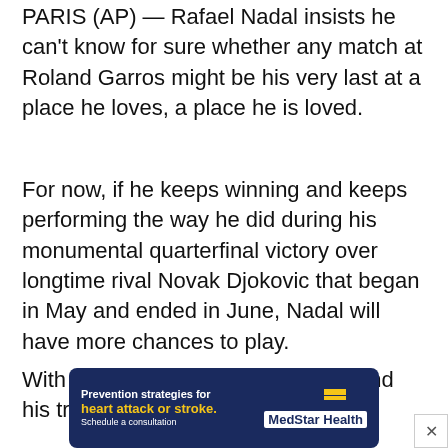PARIS (AP) — Rafael Nadal insists he can't know for sure whether any match at Roland Garros might be his very last at a place he loves, a place he is loved.
For now, if he keeps winning and keeps performing the way he did during his monumental quarterfinal victory over longtime rival Novak Djokovic that began in May and ended in June, Nadal will have more chances to play.
With a mix of brilliant shot-making and his trade[mark...] seed[...]
[Figure (other): Advertisement banner for MedStar Health: 'Prevention strategies for heart attack or stroke. Schedule a consultation' with MedStar Health logo showing blue and yellow stripes.]